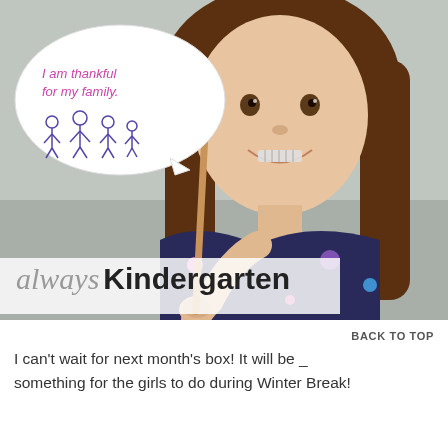[Figure (photo): A smiling girl with long brown hair holding a speech bubble sign on a stick. The sign reads 'I am thankful for my family.' with a drawing of stick figures. She wears a dark floral top. An 'Always Kindergarten' watermark is overlaid at the bottom of the photo.]
BACK TO TOP
I can't wait for next month's box!  It will be something for the girls to do during Winter Break!